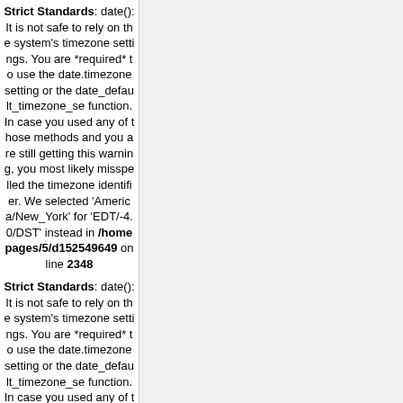Strict Standards: date(): It is not safe to rely on the system's timezone settings. You are *required* to use the date.timezone setting or the date_default_timezone_set function. In case you used any of those methods and you are still getting this warning, you most likely misspelled the timezone identifier. We selected 'America/New_York' for 'EDT/-4.0/DST' instead in /homepages/5/d152549649 on line 2348
Strict Standards: date(): It is not safe to rely on the system's timezone settings. You are *required* to use the date.timezone setting or the date_default_timezone_set function. In case you used any of those methods and you are still getting this warning, you...